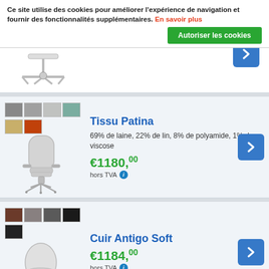Ce site utilise des cookies pour améliorer l'expérience de navigation et fournir des fonctionnalités supplémentaires. En savoir plus
Autoriser les cookies
[Figure (photo): Partial view of an office chair base/swivel mechanism on white background]
Tissu Patina
69% de laine, 22% de lin, 8% de polyamide, 1% de viscose
€1180,00 hors TVA
[Figure (photo): Color swatches (grey, medium grey, light grey, teal) and product image of a high-back office chair in light grey fabric]
Cuir Antigo Soft
€1184,00 hors TVA
[Figure (photo): Color swatches (brown, medium grey, dark grey, black) and product image of a round egg-shaped office chair in white/light grey leather]